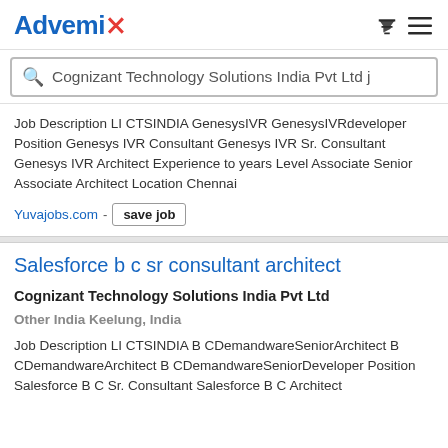Advemix
Cognizant Technology Solutions India Pvt Ltd j
Job Description LI CTSINDIA GenesysIVR GenesysIVRdeveloper Position Genesys IVR Consultant Genesys IVR Sr. Consultant Genesys IVR Architect Experience to years Level Associate Senior Associate Architect Location Chennai
Yuvajobs.com - save job
Salesforce b c sr consultant architect
Cognizant Technology Solutions India Pvt Ltd
Other India Keelung, India
Job Description LI CTSINDIA B CDemandwareSeniorArchitect B CDemandwareArchitect B CDemandwareSeniorDeveloper Position Salesforce B C Sr. Consultant Salesforce B C Architect